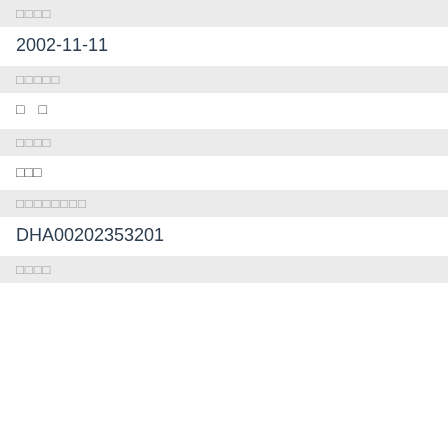□□□□
2002-11-11
□□□□□
□　□
□□□□
□□□
□□□□□□□□
DHA00202353201
□□□□